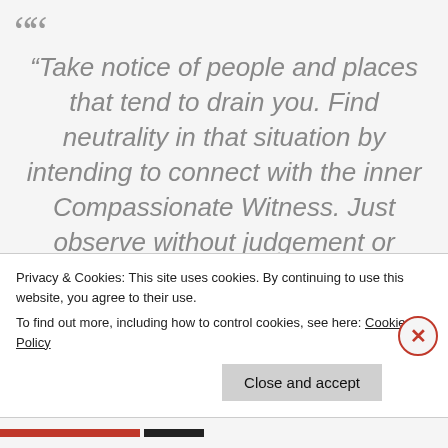“Take notice of people and places that tend to drain you. Find neutrality in that situation by intending to connect with the inner Compassionate Witness. Just observe without judgement or reaction. Do not engage yet set appropriate boundaries. Before entering those places or exposing yourself to people whom you
Privacy & Cookies: This site uses cookies. By continuing to use this website, you agree to their use.
To find out more, including how to control cookies, see here: Cookie Policy
Close and accept